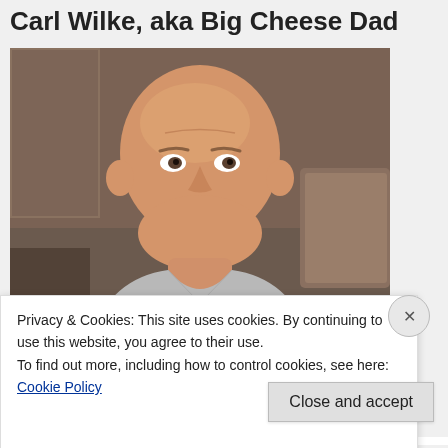Carl Wilke, aka Big Cheese Dad
[Figure (photo): Portrait photo of Carl Wilke, a bald middle-aged man smiling, wearing a light gray t-shirt, seated indoors]
Privacy & Cookies: This site uses cookies. By continuing to use this website, you agree to their use.
To find out more, including how to control cookies, see here: Cookie Policy
Close and accept